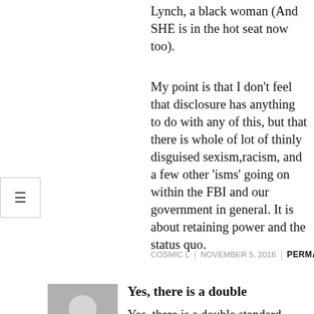Lynch, a black woman (And SHE is in the hot seat now too).
My point is that I don't feel that disclosure has anything to do with any of this, but that there is whole of lot of thinly disguised sexism,racism, and a few other ‘isms’ going on within the FBI and our government in general. It is about retaining power and the status quo.
COSMIC L | NOVEMBER 5, 2016 | PERMALINK
[Figure (illustration): Gray avatar/silhouette user icon placeholder]
Yes, there is a double
Yes, there is a double standard alright. The
This site uses only cookies essential to its functioning and internal reporting. It does not sell user information. (If you do not accept cookies, the subscriber area cannot work properly after you log in.) ×
OK
Privacy Policy and Posting Rules